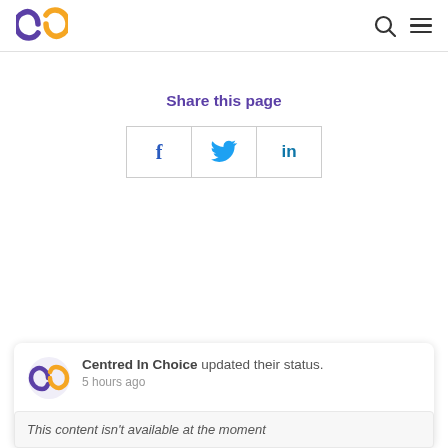[Figure (logo): Centred In Choice logo: two interlocked C shapes, one purple and one orange]
Share this page
[Figure (infographic): Three share buttons in a row: f (Facebook), Twitter bird icon, in (LinkedIn)]
Centred In Choice updated their status. 5 hours ago
This content isn't available at the moment